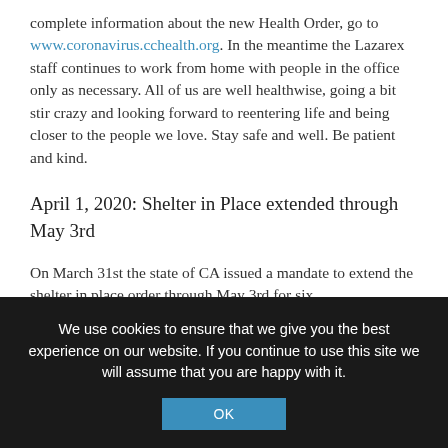complete information about the new Health Order, go to www.coronavirus.cchealth.org. In the meantime the Lazarex staff continues to work from home with people in the office only as necessary. All of us are well healthwise, going a bit stir crazy and looking forward to reentering life and being closer to the people we love. Stay safe and well. Be patient and kind.
April 1, 2020: Shelter in Place extended through May 3rd
On March 31st the state of CA issued a mandate to extend the shelter in place order through May 3rd for six
We use cookies to ensure that we give you the best experience on our website. If you continue to use this site we will assume that you are happy with it.